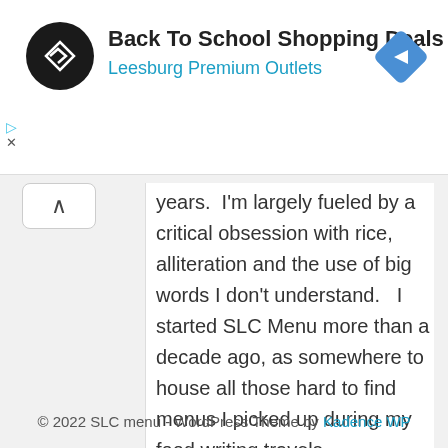[Figure (screenshot): Ad banner for Back To School Shopping Deals at Leesburg Premium Outlets with circular black logo and blue diamond navigation icon]
years.  I'm largely fueled by a critical obsession with rice, alliteration and the use of big words I don't understand.   I started SLC Menu more than a decade ago, as somewhere to house all those hard to find menus I picked up during my food writing travels.
© 2022 SLC menu - WordPress Theme by Kadence WP